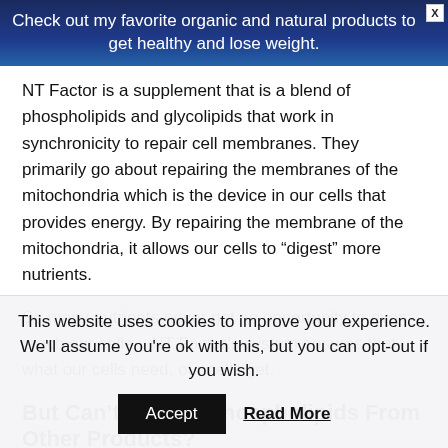Check out my favorite organic and natural products to get healthy and lose weight.
NT Factor is a supplement that is a blend of phospholipids and glycolipids that work in synchronicity to repair cell membranes. They primarily go about repairing the membranes of the mitochondria which is the device in our cells that provides energy. By repairing the membrane of the mitochondria, it allows our cells to “digest” more nutrients.
So many nutrients never get an opportunity to even reach our cells... NT Factor’s system ensures that what our cells need, our cells get.
But Can’t We Get Phospholipids From Other Products?
This website uses cookies to improve your experience. We'll assume you're ok with this, but you can opt-out if you wish.